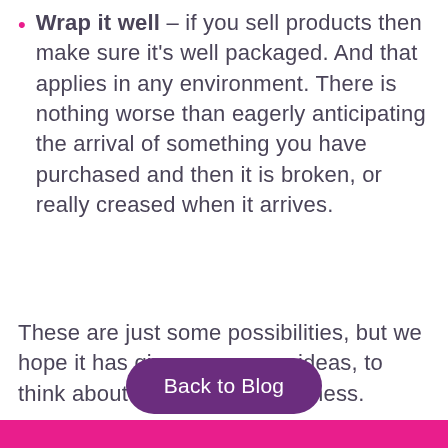Wrap it well – if you sell products then make sure it's well packaged. And that applies in any environment. There is nothing worse than eagerly anticipating the arrival of something you have purchased and then it is broken, or really creased when it arrives.
These are just some possibilities, but we hope it has given you some ideas, to think about trying in your business.
Back to Blog